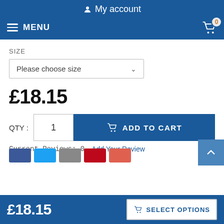My account
MENU
SIZE
Please choose size
£18.15
QTY : 1
ADD TO CART
Current Reviews: 0  Add Your Review
£18.15  SELECT OPTIONS